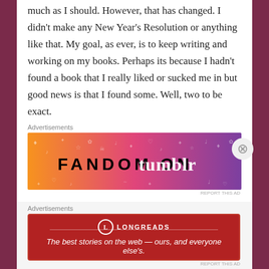much as I should. However, that has changed. I didn't make any New Year's Resolution or anything like that. My goal, as ever, is to keep writing and working on my books. Perhaps its because I hadn't found a book that I really liked or sucked me in but good news is that I found some. Well, two to be exact.
Advertisements
[Figure (other): Fandom on Tumblr advertisement banner with orange-to-purple gradient and decorative icons]
REPORT THIS AD
It's not like I went out to buy any new books. I had bought them before (a few months ago) and only now got to read them. Turns out, it was a good idea to look through my
Advertisements
[Figure (other): Longreads advertisement: The best stories on the web — ours, and everyone else's.]
REPORT THIS AD